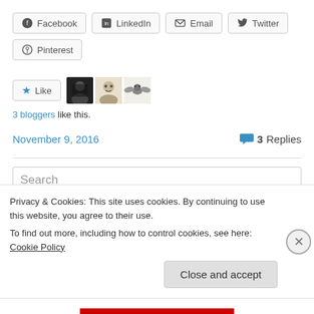Facebook | LinkedIn | Email | Twitter | Pinterest (share buttons)
[Figure (other): Like button with star icon and three blogger avatars]
3 bloggers like this.
November 9, 2016    3 Replies
Search
Privacy & Cookies: This site uses cookies. By continuing to use this website, you agree to their use.
To find out more, including how to control cookies, see here: Cookie Policy
Close and accept